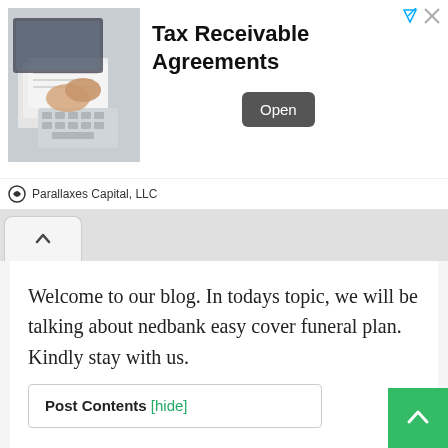[Figure (screenshot): Advertisement banner for Tax Receivable Agreements by Parallaxes Capital, LLC with an image of hands on a calculator/laptop, an Open button, and navigation/close icons.]
Welcome to our blog. In todays topic, we will be talking about nedbank easy cover funeral plan. Kindly stay with us.
Post Contents [hide]